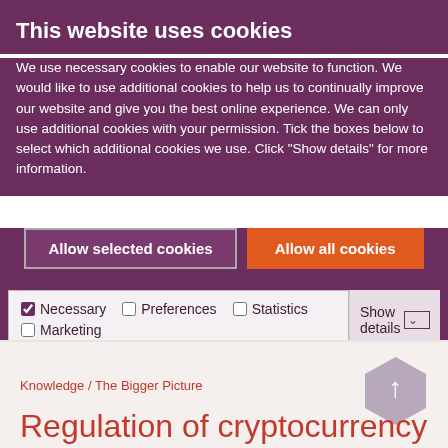This website uses cookies
We use necessary cookies to enable our website to function. We would like to use additional cookies to help us to continually improve our website and give you the best online experience. We can only use additional cookies with your permission. Tick the boxes below to select which additional cookies we use. Click "Show details" for more information.
Allow selected cookies | Allow all cookies
Necessary  Preferences  Statistics  Marketing  Show details
Knowledge / The Bigger Picture
Regulation of cryptocurrency